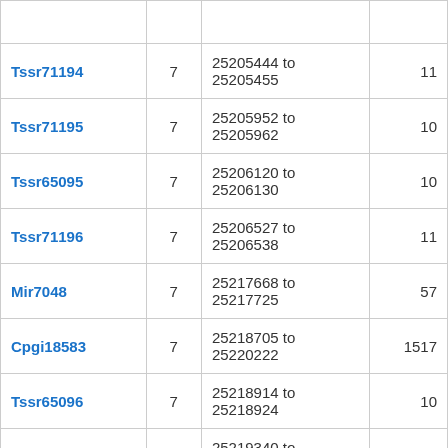| Name | Chr | Position | Length |
| --- | --- | --- | --- |
|  |  |  |  |
| Tssr71194 | 7 | 25205444 to 25205455 | 11 |
| Tssr71195 | 7 | 25205952 to 25205962 | 10 |
| Tssr65095 | 7 | 25206120 to 25206130 | 10 |
| Tssr71196 | 7 | 25206527 to 25206538 | 11 |
| Mir7048 | 7 | 25217668 to 25217725 | 57 |
| Cpgi18583 | 7 | 25218705 to 25220222 | 1517 |
| Tssr65096 | 7 | 25218914 to 25218924 | 10 |
| Tssr65097 | 7 | 25219340 to 25219378 | 38 |
| 4933429L12Rik | 7 | 25219368 to 25220930 | 1562 |